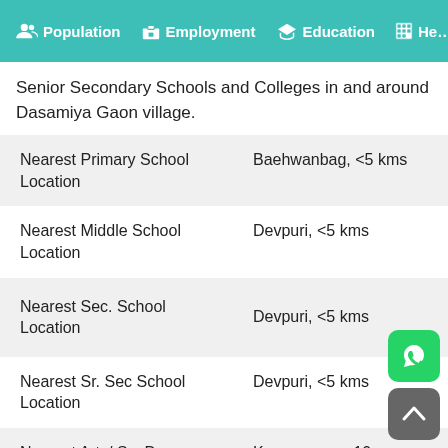Population  Employment  Education  He...
Senior Secondary Schools and Colleges in and around Dasamiya Gaon village.
| Nearest Primary School Location | Baehwanbag, <5 kms |
| Nearest Middle School Location | Devpuri, <5 kms |
| Nearest Sec. School Location | Devpuri, <5 kms |
| Nearest Sr. Sec School Location | Devpuri, <5 kms |
| Nearest Arts/ Sc. Degree | Karnaprayag, 10+ |